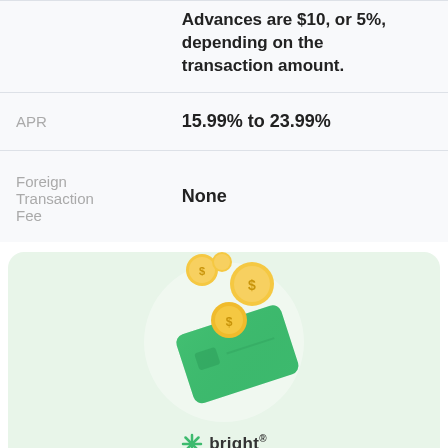|  |  |
| --- | --- |
|  | Advances are $10, or 5%, depending on the transaction amount. |
| APR | 15.99% to 23.99% |
| Foreign Transaction Fee | None |
[Figure (illustration): Green credit card with gold coins floating above it, against a light circular background, with the 'bright' logo and text below reading 'Here's a smart way to pay off Bank of America']
Here's a smart way to pay off
Bank of America